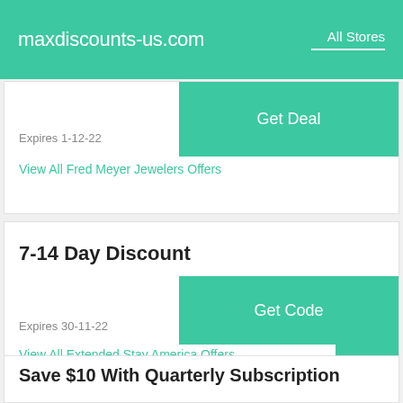maxdiscounts-us.com | All Stores
Expires 1-12-22
View All Fred Meyer Jewelers Offers
7-14 Day Discount
Expires 30-11-22
View All Extended Stay America Offers
Save $10 With Quarterly Subscription